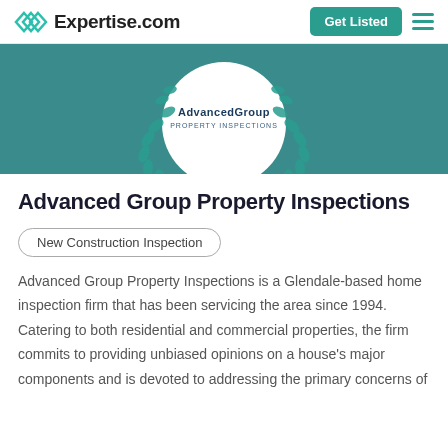Expertise.com | Get Listed
[Figure (logo): AdvancedGroup Property Inspections logo centered on teal banner with laurel wreath decoration]
Advanced Group Property Inspections
New Construction Inspection
Advanced Group Property Inspections is a Glendale-based home inspection firm that has been servicing the area since 1994. Catering to both residential and commercial properties, the firm commits to providing unbiased opinions on a house's major components and is devoted to addressing the primary concerns of